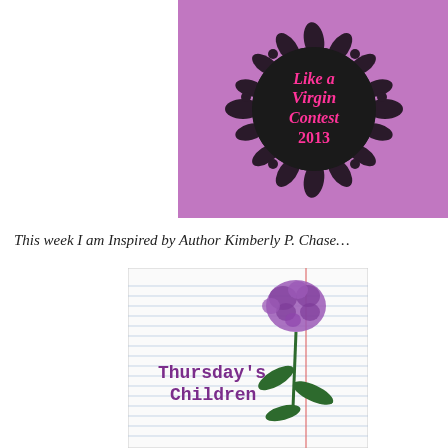[Figure (logo): Purple background image with a black circular floral wreath design, containing pink stylized text reading 'Like a Virgin Contest 2013']
This week I am Inspired by Author Kimberly P. Chase…
[Figure (logo): Thursday's Children logo: lined notebook paper background with a purple stamped carnation flower illustration on the right and purple typewriter-style text reading 'Thursday's Children' on the left, with a vertical red margin line]